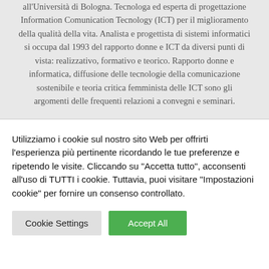all'Università di Bologna. Tecnologa ed esperta di progettazione Information Comunication Tecnology (ICT) per il miglioramento della qualità della vita. Analista e progettista di sistemi informatici si occupa dal 1993 del rapporto donne e ICT da diversi punti di vista: realizzativo, formativo e teorico. Rapporto donne e informatica, diffusione delle tecnologie della comunicazione sostenibile e teoria critica femminista delle ICT sono gli argomenti delle frequenti relazioni a convegni e seminari.
Utilizziamo i cookie sul nostro sito Web per offrirti l'esperienza più pertinente ricordando le tue preferenze e ripetendo le visite. Cliccando su "Accetta tutto", acconsenti all'uso di TUTTI i cookie. Tuttavia, puoi visitare "Impostazioni cookie" per fornire un consenso controllato.
Cookie Settings | Accept All